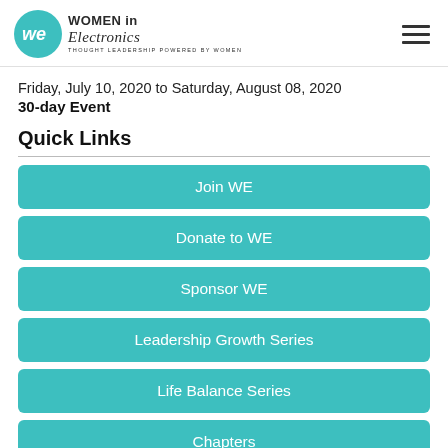Women in Electronics — THOUGHT LEADERSHIP POWERED BY WOMEN
Friday, July 10, 2020 to Saturday, August 08, 2020
30-day Event
Quick Links
Join WE
Donate to WE
Sponsor WE
Leadership Growth Series
Life Balance Series
Chapters